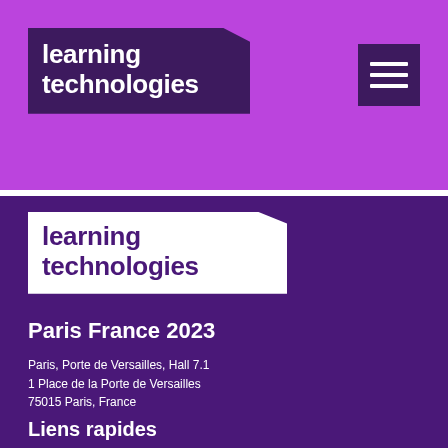learning technologies
[Figure (logo): Hamburger menu icon with three horizontal white lines on dark purple background]
learning technologies
Paris France 2023
Paris, Porte de Versailles, Hall 7.1
1 Place de la Porte de Versailles
75015 Paris, France
Liens rapides
Contactez nous
Visiter
Exposer
Réserver un stand